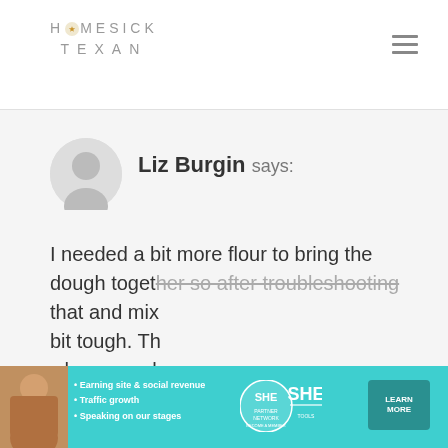HOMESICK TEXAN
Liz Burgin says:
I needed a bit more flour to bring the dough together so after troubleshooting that and mix bit tough. Th when we reh stiff. So for a don't use the KitchenAid for the full 2 mins of kneading, try maybe 30 seconds
[Figure (other): SHE Partner Network advertisement banner with woman photo, bullet points about earning site & social revenue, traffic growth, speaking on stages, and Learn More button]